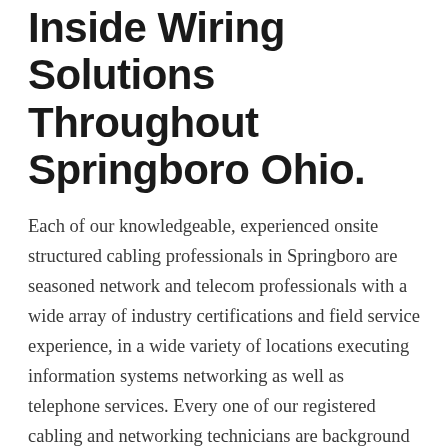Inside Wiring Solutions Throughout Springboro Ohio.
Each of our knowledgeable, experienced onsite structured cabling professionals in Springboro are seasoned network and telecom professionals with a wide array of industry certifications and field service experience, in a wide variety of locations executing information systems networking as well as telephone services. Every one of our registered cabling and networking technicians are background checked, drug tested, and totally vetted to supply only the highest quality onsite solutions available in Springboro and any of the surrounding areas. Our voice and data technicians are highly trained and prepared to tackle any network job that you could need from basic Cat5e-Cat6 and phone repair services to informative network evaluations and providing specialized structured cabling solutions for thousands of voice and data network drops in existing or new construction